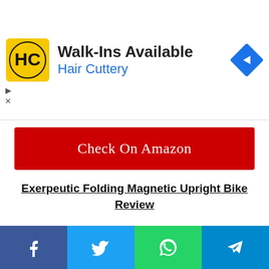[Figure (logo): Hair Cuttery advertisement banner with HC logo, 'Walk-Ins Available' text, 'Hair Cuttery' in blue, and a blue diamond navigation arrow icon on the right]
Check On Amazon
Exerpeutic Folding Magnetic Upright Bike Review
It is maybe a little bit too easy to underestimate the Exerpeutic Folding Magnetic Upright bike thanks to its ridiculously slick design and elegant build, but make no mistake about it, with a 300 pound
Facebook | Twitter | WhatsApp | Telegram